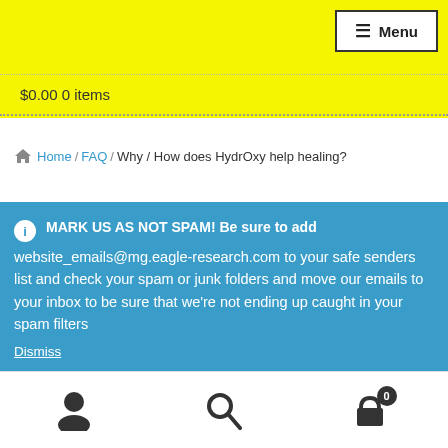Menu
$0.00 0 items
Home / FAQ / Why / How does HydrOxy help healing?
MARK US AS NOT SPAM! Be sure to add website_emails@mg.eagle-research.com to your safe senders list and check your spam or junk folders and move our emails to your inbox to be sure that we're not ending up caught in your spam filters
Dismiss